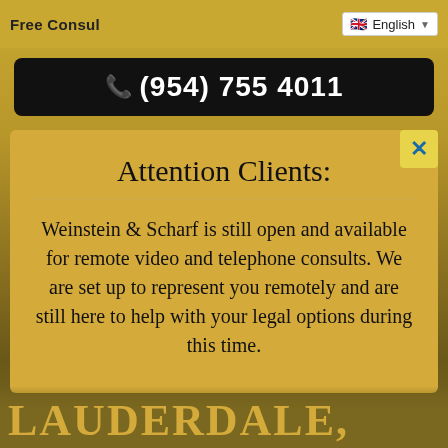Free Consul   English
(954) 755 4011
Attention Clients:
Weinstein & Scharf is still open and available for remote video and telephone consults. We are set up to represent you remotely and are still here to help with your legal options during this time.
LAUDERDALE,